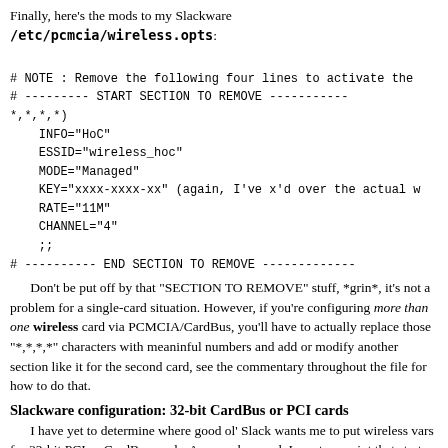Finally, here's the mods to my Slackware /etc/pcmcia/wireless.opts:
# NOTE : Remove the following four lines to activate the
# --------- START SECTION TO REMOVE -----------
*,*,*,*)
    INFO="HoC"
    ESSID="wireless_hoc"
    MODE="Managed"
    KEY="xxxx-xxxx-xx" (again, I've x'd over the actual w
    RATE="11M"
    CHANNEL="4"
    ;;
# ---------- END SECTION TO REMOVE -------------
Don't be put off by that "SECTION TO REMOVE" stuff, *grin*, it's not a problem for a single-card situation. However, if you're configuring more than one wireless card via PCMCIA/CardBus, you'll have to actually replace those "*,*,*,*" characters with meaninful numbers and add or modify another section like it for the second card, see the commentary throughout the file for how to do that.
Slackware configuration: 32-bit CardBus or PCI cards
I have yet to determine where good ol' Slack wants me to put wireless vars for 32-bit PCI or CardBus cards. As a workaround, I create a script that starts up the card, performing ifconfig, iwconfig